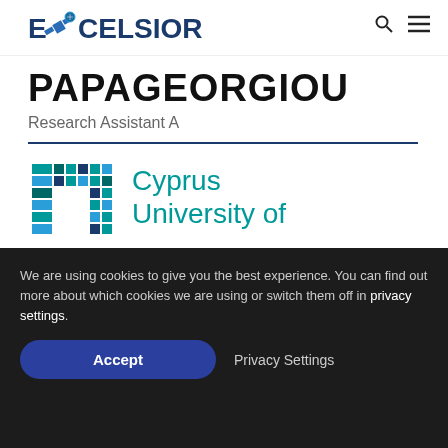EXCELSIOR
PAPAGEORGIOU
Research Assistant A
[Figure (logo): Cyprus University of Technology logo - pixelated T-shaped logo in teal and dark blue colors]
Cyprus University of
We are using cookies to give you the best experience. You can find out more about which cookies we are using or switch them off in privacy settings.
Accept
Privacy Settings